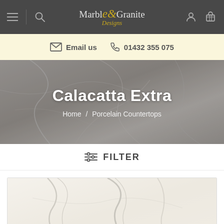Marble & Granite Designs — navigation bar with hamburger menu, search, logo, user account and cart icons
Email us  01432 355 075
Calacatta Extra
Home / Porcelain Countertops
FILTER
[Figure (photo): Calacatta Extra porcelain countertop sample showing white marble surface with grey veining]